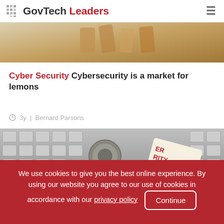GovTech Leaders
[Figure (photo): Top portion of an article card showing a photo of wooden blocks or similar objects in warm tones]
Cyber Security Cybersecurity is a market for lemons
3y  |  Bernard Parsons
[Figure (photo): Keyboard with a coin/key and a paper sign reading CYBER SECURITY]
We use cookies to give you the best online experience. By using our website you agree to our use of cookies in accordance with our privacy policy  Continue